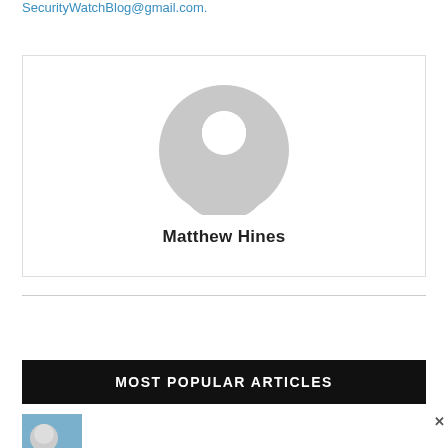SecurityWatchBlog@gmail.com.
[Figure (illustration): Generic user avatar placeholder — grey circle with person silhouette]
Matthew Hines
MOST POPULAR ARTICLES
[Figure (photo): Thumbnail photo of a person used for an article preview]